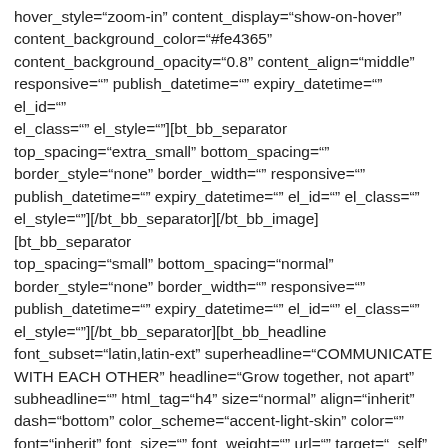hover_style="zoom-in" content_display="show-on-hover" content_background_color="#fe4365" content_background_opacity="0.8" content_align="middle" responsive="" publish_datetime="" expiry_datetime="" el_id="" el_class="" el_style=""][bt_bb_separator top_spacing="extra_small" bottom_spacing="" border_style="none" border_width="" responsive="" publish_datetime="" expiry_datetime="" el_id="" el_class="" el_style=""][/bt_bb_separator][/bt_bb_image][bt_bb_separator top_spacing="small" bottom_spacing="normal" border_style="none" border_width="" responsive="" publish_datetime="" expiry_datetime="" el_id="" el_class="" el_style=""][/bt_bb_separator][bt_bb_headline font_subset="latin,latin-ext" superheadline="COMMUNICATE WITH EACH OTHER" headline="Grow together, not apart" subheadline="" html_tag="h4" size="normal" align="inherit" dash="bottom" color_scheme="accent-light-skin" color="" font="inherit" font_size="" font_weight="" url="" target="_self" responsive="" publish_datetime="" expiry_datetime="" el_id=""